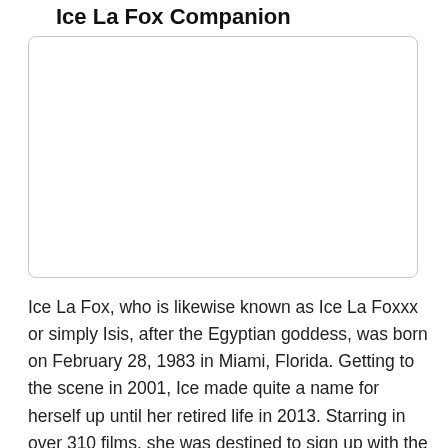Ice La Fox Companion
[Figure (photo): Empty image placeholder box with rounded corners and light gray border]
Ice La Fox, who is likewise known as Ice La Foxxx or simply Isis, after the Egyptian goddess, was born on February 28, 1983 in Miami, Florida. Getting to the scene in 2001, Ice made quite a name for herself up until her retired life in 2013. Starring in over 310 films, she was destined to sign up with the grown-up show